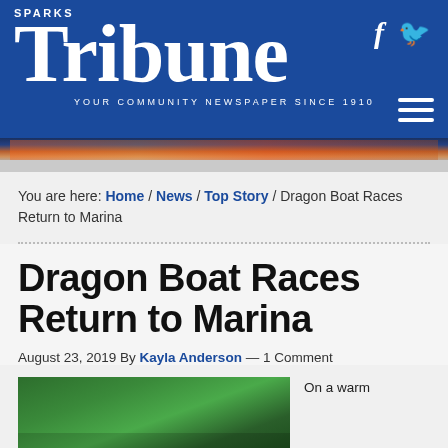SPARKS Tribune — YOUR COMMUNITY NEWSPAPER SINCE 1910
[Figure (photo): City skyline at night/dusk in banner strip]
You are here: Home / News / Top Story / Dragon Boat Races Return to Marina
Dragon Boat Races Return to Marina
August 23, 2019 By Kayla Anderson — 1 Comment
[Figure (photo): Outdoor scene with trees and greenery]
On a warm